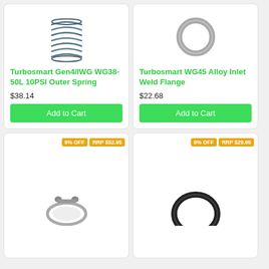[Figure (photo): Turbosmart coil spring (blue-grey metal spring)]
Turbosmart Gen4/IWG WG38-50L 10PSI Outer Spring
$38.14
Add to Cart
[Figure (photo): Turbosmart WG45 alloy inlet weld flange (round metal ring)]
Turbosmart WG45 Alloy Inlet Weld Flange
$22.68
Add to Cart
9% OFF
RRP $52.95
[Figure (photo): Small metal clamp/ring part (bottom-left product, partial view)]
9% OFF
RRP $29.95
[Figure (photo): Black rubber O-ring/seal (bottom-right product, partial view)]